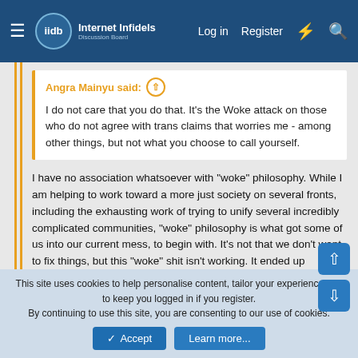Internet Infidels — Log in  Register
Angra Mainyu said: ↑
I do not care that you do that. It's the Woke attack on those who do not agree with trans claims that worries me - among other things, but not what you choose to call yourself.
I have no association whatsoever with "woke" philosophy. While I am helping to work toward a more just society on several fronts, including the exhausting work of trying to unify several incredibly complicated communities, "woke" philosophy is what got some of us into our current mess, to begin with. It's not that we don't want to fix things, but this "woke" shit isn't working. It ended up endangering people's lives. It is a very dangerous method of trying to engage these kinds of problems.
Either you wish to be respectful toward me, or you do not. I
This site uses cookies to help personalise content, tailor your experience and to keep you logged in if you register.
By continuing to use this site, you are consenting to our use of cookies.
Accept  Learn more...